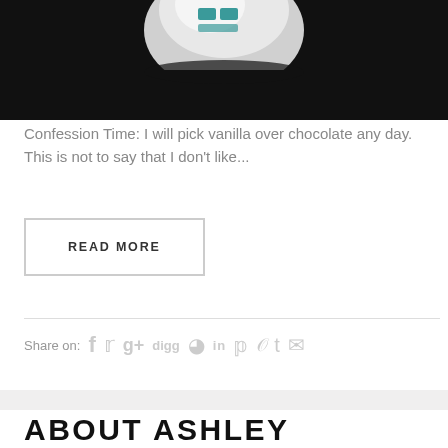[Figure (photo): Close-up photograph of a ball with a teal/green logo on it, against a dark black background. Only the top portion of the ball is visible.]
Confession Time: I will pick vanilla over chocolate any day. This is not to say that I don't like...
READ MORE
Share on:
ABOUT ASHLEY